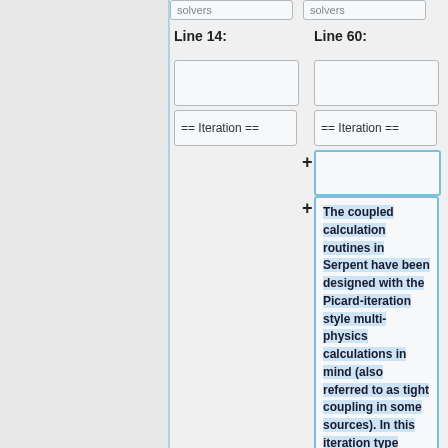solvers (top boxes, cropped at top)
Line 14:
Line 60:
[Figure (screenshot): Diff view showing two columns: Line 14 (left) and Line 60 (right). Both columns have empty boxes, == Iteration == boxes, and the right column has an added box (blue outlined) with text: 'The coupled calculation routines in Serpent have been designed with the Picard-iteration style multi-physics calculations in mind (also referred to as tight coupling in some sources). In this iteration type']
The coupled calculation routines in Serpent have been designed with the Picard-iteration style multi-physics calculations in mind (also referred to as tight coupling in some sources). In this iteration type